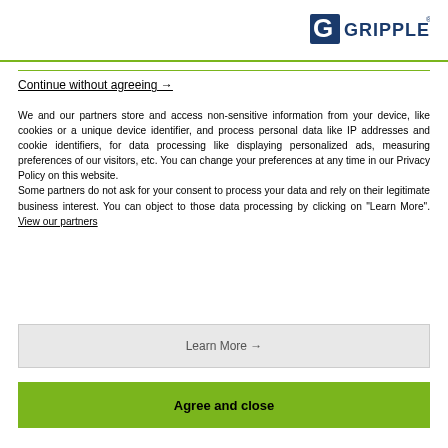[Figure (logo): Gripple logo with stylized G and brand name in dark blue]
Continue without agreeing →
We and our partners store and access non-sensitive information from your device, like cookies or a unique device identifier, and process personal data like IP addresses and cookie identifiers, for data processing like displaying personalized ads, measuring preferences of our visitors, etc. You can change your preferences at any time in our Privacy Policy on this website.
Some partners do not ask for your consent to process your data and rely on their legitimate business interest. You can object to those data processing by clicking on "Learn More". View our partners
Learn More →
Agree and close